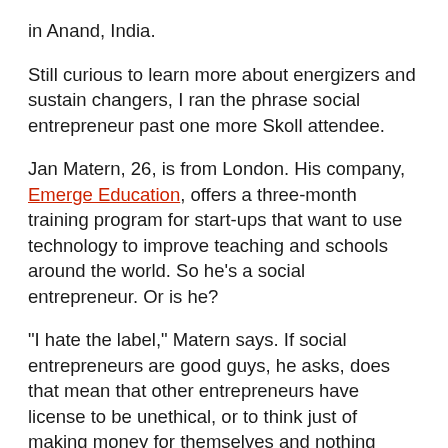in Anand, India.
Still curious to learn more about energizers and sustain changers, I ran the phrase social entrepreneur past one more Skoll attendee.
Jan Matern, 26, is from London. His company, Emerge Education, offers a three-month training program for start-ups that want to use technology to improve teaching and schools around the world. So he’s a social entrepreneur. Or is he?
“I hate the label,” Matern says. If social entrepreneurs are good guys, he asks, does that mean that other entrepreneurs have license to be unethical, or to think just of making money for themselves and nothing more?
“All the label means is that you have the attitude of a morally good person,” Matern says. He also worries that the label will make outsiders think that